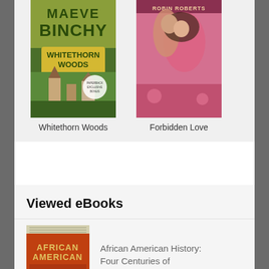[Figure (screenshot): Screenshot of an eBook browsing app showing book covers for 'Whitethorn Woods' by Maeve Binchy and 'Forbidden Love', followed by a 'Viewed eBooks' section with 'African American History: Four Centuries of' and 'Orville and Wilbur Wright (Inventors' listings]
Whitethorn Woods
Forbidden Love
Viewed eBooks
African American History: Four Centuries of
Orville and Wilbur Wright (Inventors